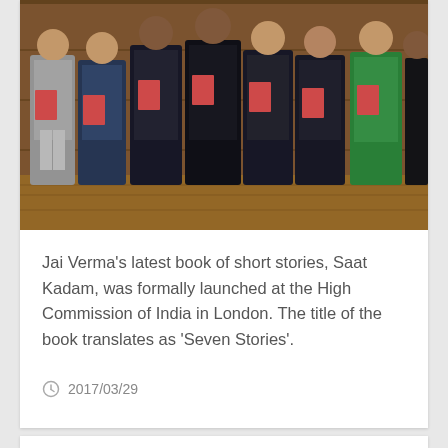[Figure (photo): Group of approximately 8-9 people standing in a formal indoor setting with wood paneling, each holding a copy of a book. One woman is wearing a green Indian outfit on the right. The setting appears to be the High Commission of India in London.]
Jai Verma’s latest book of short stories, Saat Kadam, was formally launched at the High Commission of India in London. The title of the book translates as ‘Seven Stories’.
2017/03/29